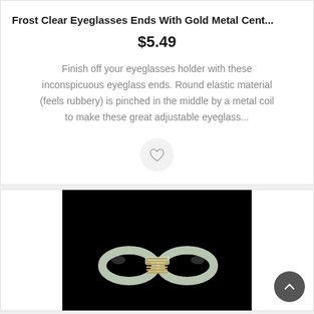Frost Clear Eyeglasses Ends With Gold Metal Cent...
$5.49
Finish off your eyeglasses holder with these inconspicuous eyeglass ends. Round elastic material (feels rubbery) is pinched in the middle by a metal coil to make these great adjustable eyeglass...
[Figure (photo): Product photo of frost clear eyeglass ends with gold metal coil center, on black background. The item shows two clear elastic loops pinched in the middle by a gold metal coil/spring.]